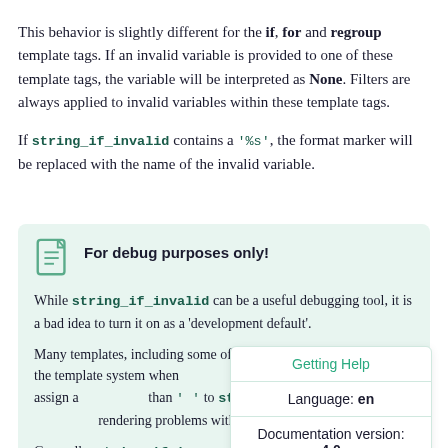This behavior is slightly different for the if, for and regroup template tags. If an invalid variable is provided to one of these template tags, the variable will be interpreted as None. Filters are always applied to invalid variables within these template tags.
If string_if_invalid contains a '%s', the format marker will be replaced with the name of the invalid variable.
For debug purposes only! While string_if_invalid can be a useful debugging tool, it is a bad idea to turn it on as a 'development default'. Many templates, including some of Django's, rely on the silence of the template system when an invalid variable is encountered. If you assign a value other than '' to string_if_invalid, you will experience rendering problems with these templates and sites. Generally, string_if_invalid should only be enabled in order to debug a specific template problem,
Getting Help Language: en Documentation version: 4.0